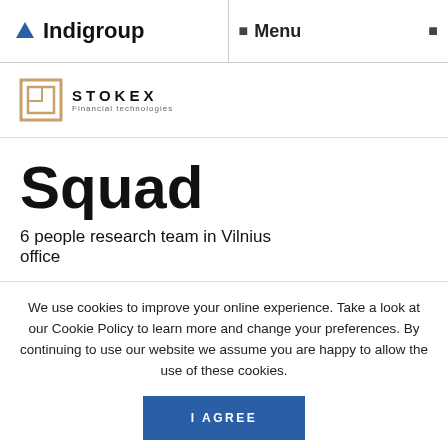Indigroup  Menu
[Figure (logo): Stokex Financial Technologies logo with square icon and text STOKEX / Financial technologies]
Squad
6 people research team in Vilnius office
We use cookies to improve your online experience. Take a look at our Cookie Policy to learn more and change your preferences. By continuing to use our website we assume you are happy to allow the use of these cookies.
I AGREE
Privacy Policy